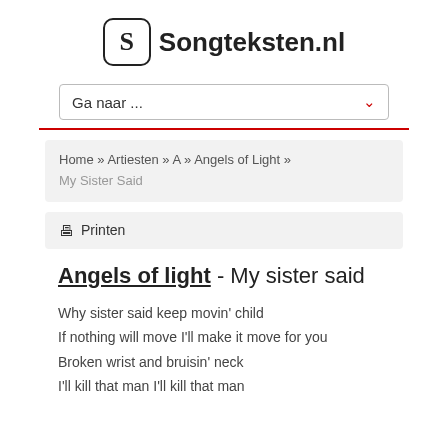Songteksten.nl
Ga naar ...
Home » Artiesten » A » Angels of Light » My Sister Said
Printen
Angels of light - My sister said
Why sister said keep movin' child
If nothing will move I'll make it move for you
Broken wrist and bruisin' neck
I'll kill that man I'll kill that man